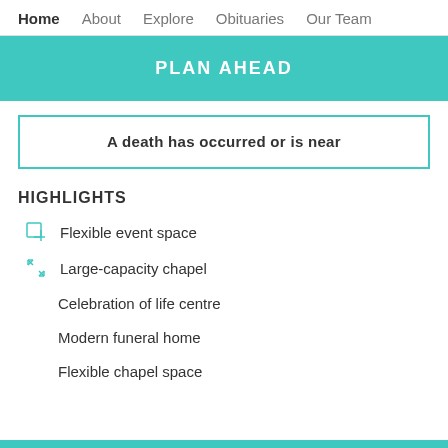Home   About   Explore   Obituaries   Our Team
PLAN AHEAD
A death has occurred or is near
HIGHLIGHTS
Flexible event space
Large-capacity chapel
Celebration of life centre
Modern funeral home
Flexible chapel space